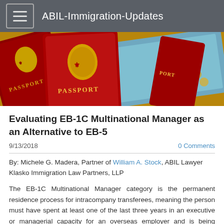ABIL-Immigration-Updates
[Figure (photo): Hero banner photo showing red UK passports and euro banknotes scattered on a surface]
Evaluating EB-1C Multinational Manager as an Alternative to EB-5
9/13/2018   0 Comments
By: Michele G. Madera, Partner of William A. Stock, ABIL Lawyer Klasko Immigration Law Partners, LLP
The EB-1C Multinational Manager category is the permanent residence process for intracompany transferees, meaning the person must have spent at least one of the last three years in an executive or managerial capacity for an overseas employer and is being transferred to the U.S. to work as an executive or manager for a